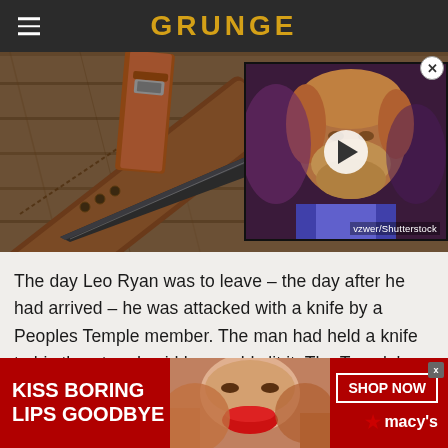GRUNGE
[Figure (photo): Main image showing a black tactical knife on a wooden surface, with a video thumbnail overlay showing a bearded man (play button visible) and vzwer/Shutterstock credit]
The day Leo Ryan was to leave – the day after he had arrived – he was attacked with a knife by a Peoples Temple member. The man had held a knife to his throat and said he would slit it. The Temple's lawyers, as well as
[Figure (photo): Advertisement banner: KISS BORING LIPS GOODBYE with model photo showing red lips, SHOP NOW button and Macy's star logo]